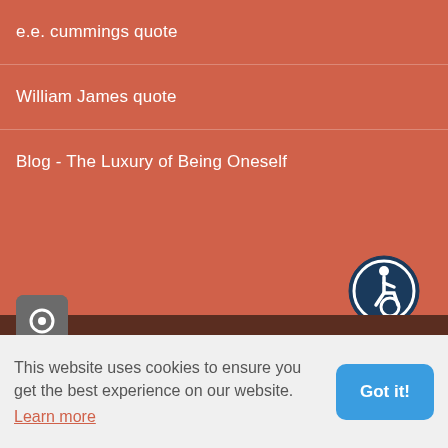e.e. cummings quote
William James quote
Blog - The Luxury of Being Oneself
[Figure (illustration): Accessibility icon: white wheelchair user figure on dark navy circular background with white ring border]
[Figure (illustration): Camera icon: dark grey rounded square with white circle outline]
This website uses cookies to ensure you get the best experience on our website.
Learn more
Got it!